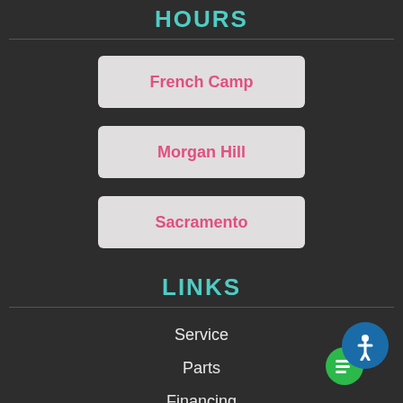HOURS
French Camp
Morgan Hill
Sacramento
LINKS
Service
Parts
Financing
[Figure (illustration): Accessibility and chat icon buttons in bottom right corner]